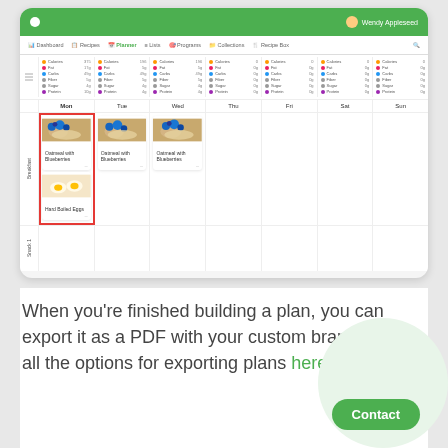[Figure (screenshot): Screenshot of a meal planner web application showing a weekly calendar (Mon-Sun) with breakfast items including 'Oatmeal with Blueberries' and 'Hard Boiled Eggs' on Monday, and 'Oatmeal with Blueberries' on Tuesday and Wednesday. The app has a green header bar with navigation including Dashboard, Recipes, Planner, Lists, Programs, Collections, Recipe Box. Nutritional stats (Calories, Fat, Carbs, Fiber, Sugar, Protein) are shown for each day.]
When you're finished building a plan, you can export it as a PDF with your custom branding. See all the options for exporting plans here.